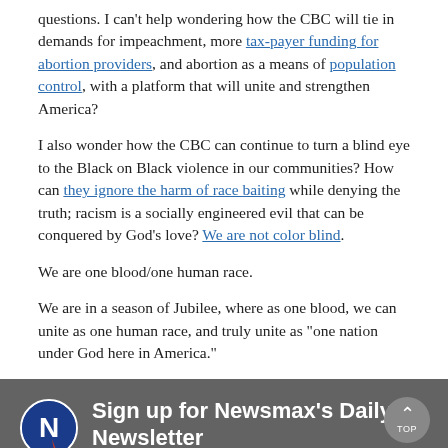questions. I can't help wondering how the CBC will tie in demands for impeachment, more tax-payer funding for abortion providers, and abortion as a means of population control, with a platform that will unite and strengthen America?
I also wonder how the CBC can continue to turn a blind eye to the Black on Black violence in our communities? How can they ignore the harm of race baiting while denying the truth; racism is a socially engineered evil that can be conquered by God's love? We are not color blind.
We are one blood/one human race.
We are in a season of Jubilee, where as one blood, we can unite as one human race, and truly unite as "one nation under God here in America."
[Figure (infographic): Newsmax newsletter signup box with Newsmax logo icon, heading 'Sign up for Newsmax's Daily Newsletter', subtext 'Receive breaking news and original analysis - sent right to your inbox.' and a TOP button with up arrow.]